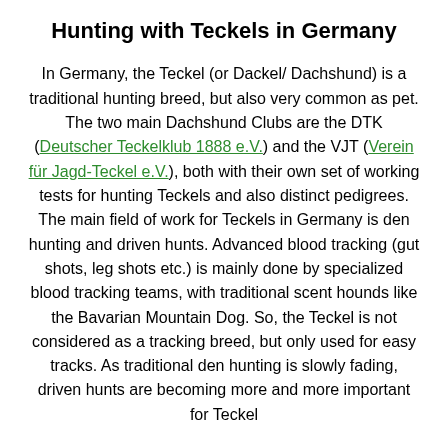Hunting with Teckels in Germany
In Germany, the Teckel (or Dackel/ Dachshund) is a traditional hunting breed, but also very common as pet. The two main Dachshund Clubs are the DTK (Deutscher Teckelklub 1888 e.V.) and the VJT (Verein für Jagd-Teckel e.V.), both with their own set of working tests for hunting Teckels and also distinct pedigrees. The main field of work for Teckels in Germany is den hunting and driven hunts. Advanced blood tracking (gut shots, leg shots etc.) is mainly done by specialized blood tracking teams, with traditional scent hounds like the Bavarian Mountain Dog. So, the Teckel is not considered as a tracking breed, but only used for easy tracks. As traditional den hunting is slowly fading, driven hunts are becoming more and more important for Teckel